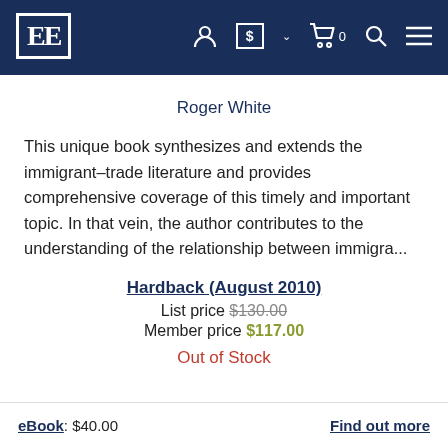[Figure (logo): EE publisher logo — white letters EE in a white-bordered box on dark navy background, with navigation icons (user, currency selector, cart, search, hamburger menu)]
Roger White
This unique book synthesizes and extends the immigrant–trade literature and provides comprehensive coverage of this timely and important topic. In that vein, the author contributes to the understanding of the relationship between immigra...
Hardback (August 2010)
List price $130.00
Member price $117.00
Out of Stock
eBook: $40.00
Find out more